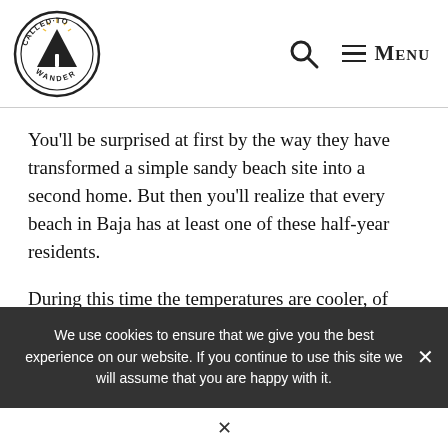[Figure (logo): Called to Wander circular logo with mountain and road illustration]
🔍  ≡ MENU
You'll be surprised at first by the way they have transformed a simple sandy beach site into a second home. But then you'll realize that every beach in Baja has at least one of these half-year residents.
During this time the temperatures are cooler, of course. But they are nowhere near what
We use cookies to ensure that we give you the best experience on our website. If you continue to use this site we will assume that you are happy with it.